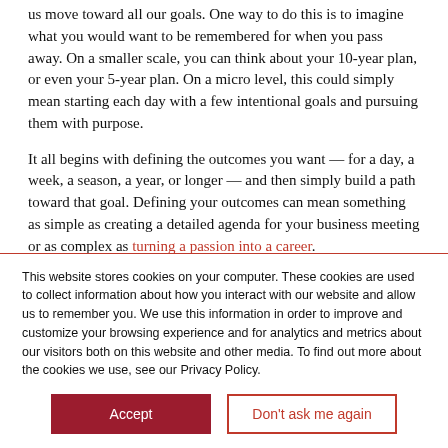us move toward all our goals. One way to do this is to imagine what you would want to be remembered for when you pass away. On a smaller scale, you can think about your 10-year plan, or even your 5-year plan. On a micro level, this could simply mean starting each day with a few intentional goals and pursuing them with purpose.
It all begins with defining the outcomes you want — for a day, a week, a season, a year, or longer — and then simply build a path toward that goal. Defining your outcomes can mean something as simple as creating a detailed agenda for your business meeting or as complex as turning a passion into a career.
This website stores cookies on your computer. These cookies are used to collect information about how you interact with our website and allow us to remember you. We use this information in order to improve and customize your browsing experience and for analytics and metrics about our visitors both on this website and other media. To find out more about the cookies we use, see our Privacy Policy.